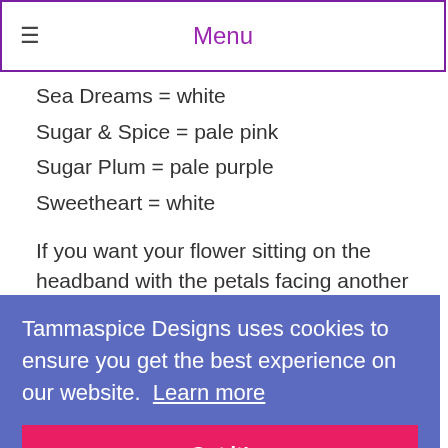☰  Menu
Sea Dreams = white
Sugar & Spice = pale pink
Sugar Plum = pale purple
Sweetheart = white
If you want your flower sitting on the headband with the petals facing another direction ie white petals facing vertical instead of horizontal then please leave a note and I will do it that way
Tammaspice Designs uses cookies to ensure you get the best experience on our website. Learn more
If you want to design a brand new flower to go on a headband just select either option and leave a note at checkout for me regarding it. Please then get in touch with me either via Facebook messenger,